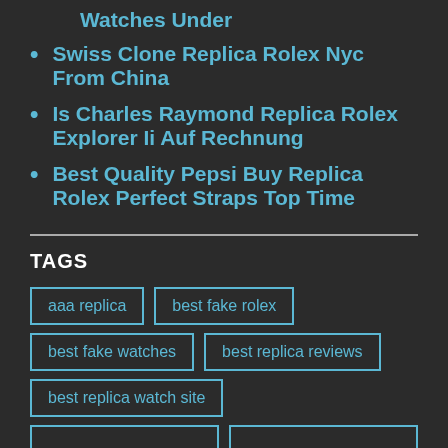Watches Under
Swiss Clone Replica Rolex Nyc From China
Is Charles Raymond Replica Rolex Explorer Ii Auf Rechnung
Best Quality Pepsi Buy Replica Rolex Perfect Straps Top Time
TAGS
aaa replica
best fake rolex
best fake watches
best replica reviews
best replica watch site